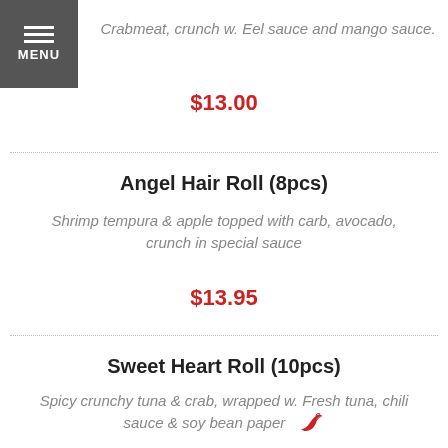MENU
Crabmeat, crunch w. Eel sauce and mango sauce.
$13.00
Angel Hair Roll (8pcs)
Shrimp tempura & apple topped with carb, avocado, crunch in special sauce
$13.95
Sweet Heart Roll (10pcs)
Spicy crunchy tuna & crab, wrapped w. Fresh tuna, chili sauce & soy bean paper
$16.50
Fire Phoenix Roll (8pcs)